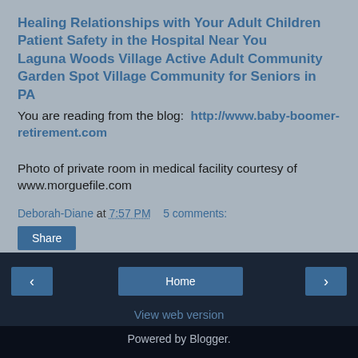Healing Relationships with Your Adult Children
Patient Safety in the Hospital Near You
Laguna Woods Village Active Adult Community
Garden Spot Village Community for Seniors in PA
You are reading from the blog:  http://www.baby-boomer-retirement.com
Photo of private room in medical facility courtesy of www.morguefile.com
Deborah-Diane at 7:57 PM   5 comments:
Share
‹  Home  ›
View web version
Powered by Blogger.